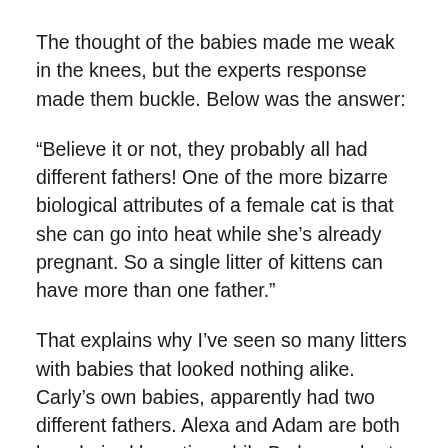The thought of the babies made me weak in the knees, but the experts response made them buckle. Below was the answer:
“Believe it or not, they probably all had different fathers! One of the more bizarre biological attributes of a female cat is that she can go into heat while she’s already pregnant. So a single litter of kittens can have more than one father.”
That explains why I’ve seen so many litters with babies that looked nothing alike. Carly’s own babies, apparently had two different fathers. Alexa and Adam are both long-haired beauties while Bo has a short beautiful coat. I actually wish he had more hair with the weather being as cold as it is. If I weren’t afraid it’d get hung on a tree, I’d get him a sweater—he’s all